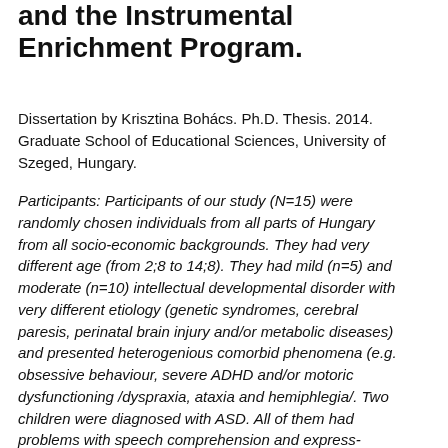and the Instrumental Enrichment Program.
Dissertation by Krisztina Bohács. Ph.D. Thesis. 2014. Graduate School of Educational Sciences, University of Szeged, Hungary.
Participants: Participants of our study (N=15) were randomly chosen individuals from all parts of Hungary from all socio-economic backgrounds. They had very different age (from 2;8 to 14;8). They had mild (n=5) and moderate (n=10) intellectual developmental disorder with very different etiology (genetic syndromes, cerebral paresis, perinatal brain injury and/or metabolic diseases) and presented heterogenious comorbid phenomena (e.g. obsessive behaviour, severe ADHD and/or motoric dysfunctioning /dyspraxia, ataxia and hemiphlegia/. Two children were diagnosed with ASD. All of them had problems with speech comprehension and expression of language. Four of them were non-verbal children upon arrival.